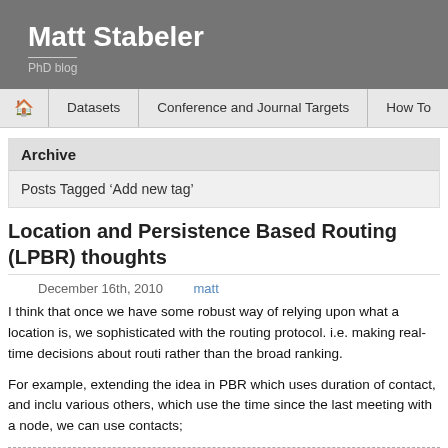Matt Stabeler
PhD blog
Datasets | Conference and Journal Targets | How To | Experiment Lo
Archive
Posts Tagged ‘Add new tag’
Location and Persistence Based Routing (LPBR) thoughts
December 16th, 2010    matt
I think that once we have some robust way of relying upon what a location is, we sophisticated with the routing protocol. i.e. making real-time decisions about routi rather than the broad ranking.
For example, extending the idea in PBR which uses duration of contact, and inclu various others, which use the time since the last meeting with a node, we can use contacts;
Node A keeps a record of contacts and locations, and i
    other nodes on encounter.